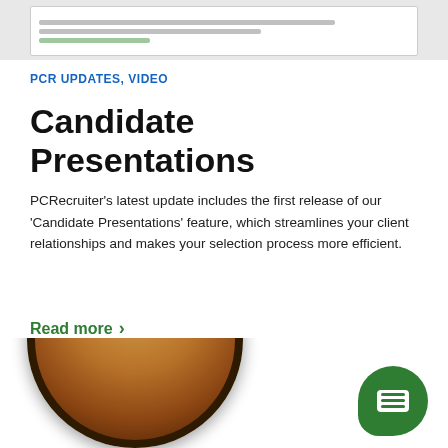[Figure (screenshot): Screenshot of a web page or application interface showing text lines and navigation]
PCR UPDATES, VIDEO
Candidate Presentations
PCRecruiter's latest update includes the first release of our 'Candidate Presentations' feature, which streamlines your client relationships and makes your selection process more efficient.
Read more >
[Figure (photo): A pumpkin or other pie viewed from above, showing fluted pie crust edges on a dark plate]
[Figure (other): Green rounded chat/messenger button icon in bottom right corner]